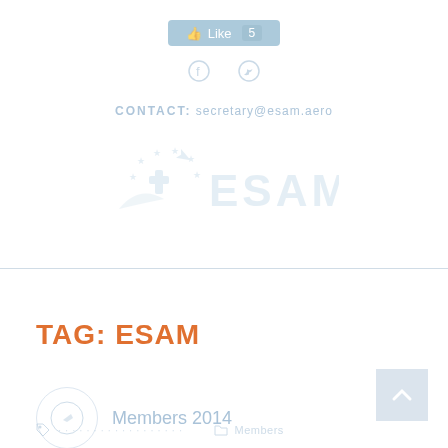[Figure (other): Facebook Like button with count, faded/watermark style]
[Figure (other): Social media icons: Facebook and Twitter, faded style]
CONTACT: secretary@esam.aero
[Figure (logo): ESAM organization logo with star circle emblem and airplane icon, faded light blue watermark style]
TAG: ESAM
[Figure (other): Circular icon placeholder for Members 2014 article thumbnail]
Members 2014
Members